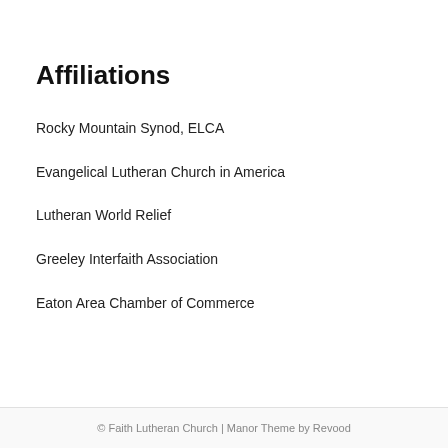Affiliations
Rocky Mountain Synod, ELCA
Evangelical Lutheran Church in America
Lutheran World Relief
Greeley Interfaith Association
Eaton Area Chamber of Commerce
© Faith Lutheran Church | Manor Theme by Revood